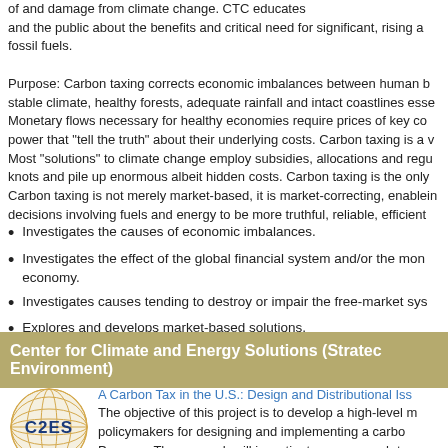of and damage from climate change. CTC educates and the public about the benefits and critical need for significant, rising and fossil fuels.
Purpose: Carbon taxing corrects economic imbalances between human b stable climate, healthy forests, adequate rainfall and intact coastlines esse Monetary flows necessary for healthy economies require prices of key co power that "tell the truth" about their underlying costs. Carbon taxing is a v Most "solutions" to climate change employ subsidies, allocations and regu knots and pile up enormous albeit hidden costs. Carbon taxing is the only Carbon taxing is not merely market-based, it is market-correcting, enablin decisions involving fuels and energy to be more truthful, reliable, efficient
Investigates the causes of economic imbalances.
Investigates the effect of the global financial system and/or the mo economy.
Investigates causes tending to destroy or impair the free-market sy
Explores and develops market-based solutions.
Center for Climate and Energy Solutions (Strate Environment)
[Figure (logo): C2ES globe logo with orange/gold meridian lines and blue C2ES text]
A Carbon Tax in the U.S.: Design and Distributional Iss The objective of this project is to develop a high-level m policymakers for designing and implementing a caro Purpose: The research will investigate an approach t